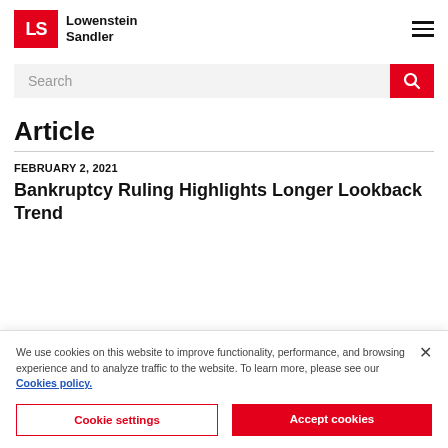Lowenstein Sandler
Search
Article
FEBRUARY 2, 2021
Bankruptcy Ruling Highlights Longer Lookback Trend
We use cookies on this website to improve functionality, performance, and browsing experience and to analyze traffic to the website. To learn more, please see our Cookies policy.
Cookie settings
Accept cookies